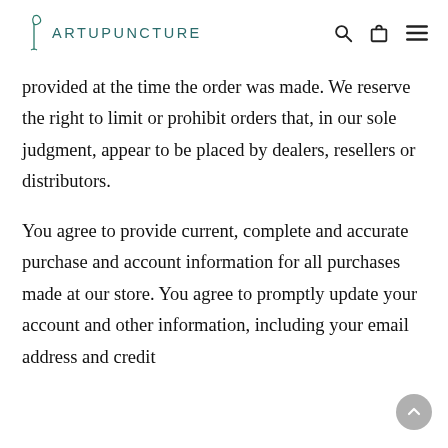ARTUPUNCTURE
provided at the time the order was made. We reserve the right to limit or prohibit orders that, in our sole judgment, appear to be placed by dealers, resellers or distributors.
You agree to provide current, complete and accurate purchase and account information for all purchases made at our store. You agree to promptly update your account and other information, including your email address and credit